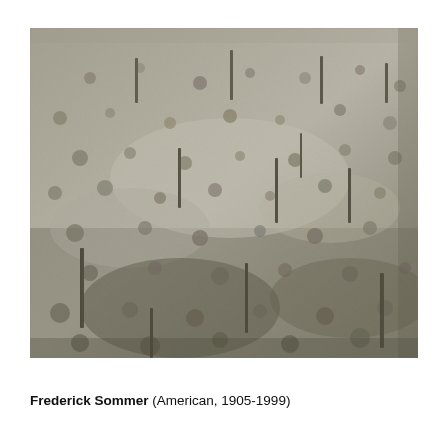[Figure (photo): Black and white photograph of a desert hillside landscape with sparse scrub vegetation and scattered tall cactus plants (saguaros) visible across the terrain. The image is rendered in grayscale and shows a sloping arid hillside covered with low desert brush.]
Frederick Sommer (American, 1905-1999)